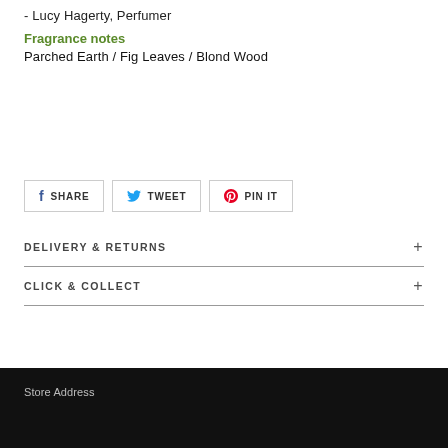- Lucy Hagerty, Perfumer
Fragrance notes
Parched Earth / Fig Leaves / Blond Wood
SHARE
TWEET
PIN IT
DELIVERY & RETURNS +
CLICK & COLLECT +
Store Address